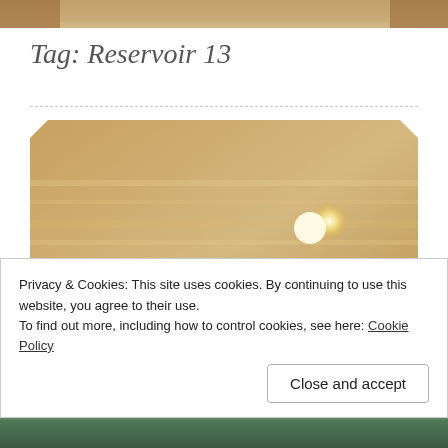[Figure (photo): Partial photo visible at the top of the page — appears to show a person with books, cropped.]
Tag: Reservoir 13
[Figure (photo): A warm-toned photograph of a green mug on a surface with soft golden light and bokeh in the background, suggesting sunrise or sunset.]
Privacy & Cookies: This site uses cookies. By continuing to use this website, you agree to their use.
To find out more, including how to control cookies, see here: Cookie Policy
Close and accept
[Figure (photo): Partial photo visible at the bottom of the page.]